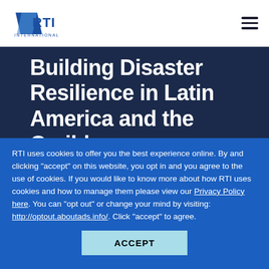RTI International
Building Disaster Resilience in Latin America and the Caribbean
Supporting the Office of U.S. Foreign Disaster Assistance
RTI uses cookies to offer you the best experience online. By and clicking “accept” on this website, you opt in and you agree to the use of cookies. If you would like to know more about how RTI uses cookies and how to manage them please view our Privacy Policy here. You can “opt out” or change your mind by visiting: http://optout.aboutads.info/. Click “accept” to agree.
ACCEPT